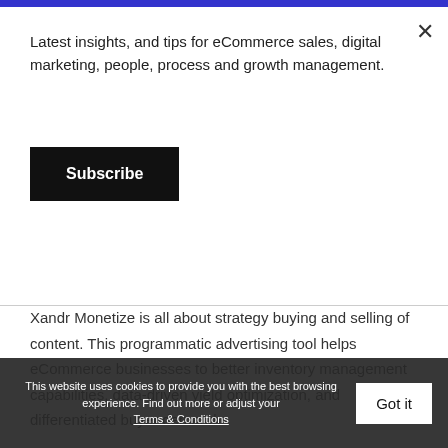Latest insights, and tips for eCommerce sales, digital marketing, people, process and growth management.
Subscribe
Xandr Monetize is all about strategy buying and selling of content. This programmatic advertising tool helps eCommerce businesses to better inventory management capabilities, data-driven yield optimization, and differentiated buyer demand.
Choose the Right Marketing Technologies at the Right Time
Marketing technologies come with different
This website uses cookies to provide you with the best browsing experience. Find out more or adjust your Terms & Conditions
Got it